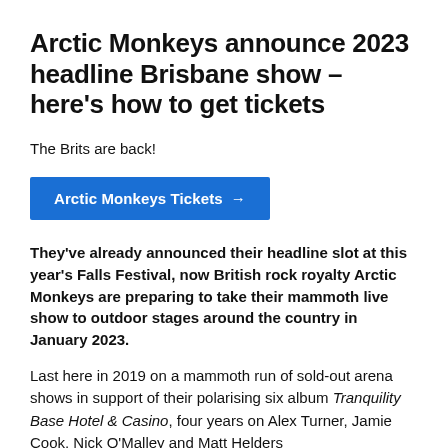Arctic Monkeys announce 2023 headline Brisbane show – here's how to get tickets
The Brits are back!
[Figure (other): Blue call-to-action button labeled 'Arctic Monkeys Tickets →']
They've already announced their headline slot at this year's Falls Festival, now British rock royalty Arctic Monkeys are preparing to take their mammoth live show to outdoor stages around the country in January 2023.
Last here in 2019 on a mammoth run of sold-out arena shows in support of their polarising six album Tranquility Base Hotel & Casino, four years on Alex Turner, Jamie Cook, Nick O'Malley and Matt Helders